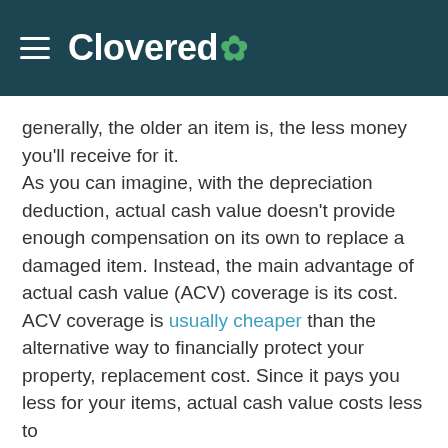Clovered
generally, the older an item is, the less money you'll receive for it.
As you can imagine, with the depreciation deduction, actual cash value doesn't provide enough compensation on its own to replace a damaged item. Instead, the main advantage of actual cash value (ACV) coverage is its cost.
ACV coverage is usually cheaper than the alternative way to financially protect your property, replacement cost. Since it pays you less for your items, actual cash value costs less to